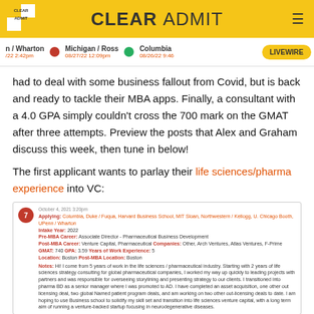CLEAR ADMIT
n / Wharton /22 2:42pm | Michigan / Ross 08/27/22 12:09pm | Columbia 08/26/22 9:46 | LIVEWIRE
had to deal with some business fallout from Covid, but is back and ready to tackle their MBA apps. Finally, a consultant with a 4.0 GPA simply couldn't cross the 700 mark on the GMAT after three attempts. Preview the posts that Alex and Graham discuss this week, then tune in below!
The first applicant wants to parlay their life sciences/pharma experience into VC:
[Figure (screenshot): Profile card showing applicant #7 details: October 4, 2021 posting. Applying: Columbia, Duke, Fuqua, Harvard Business School, MIT Sloan, Northwestern/Kellogg, U. Chicago Booth, UPenn/Wharton. Intake Year: 2022. Pre-MBA Career: Associate Director - Pharmaceutical Business Development. Post-MBA Career: Venture Capital, Pharmaceutical Companies: Other, Arch Ventures, Atlas Ventures, F-Prime. GMAT: 740, GPA: 3.59, Years of Work Experience: 5. Location: Boston, Post-MBA Location: Boston. Notes: personal statement about life sciences/pharma experience and goals.]
An SEO entrepreneur who struggled with Covid already has some